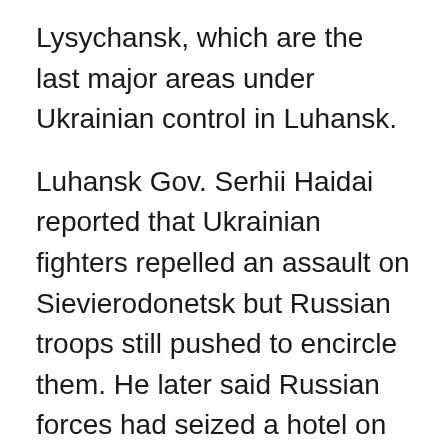Lysychansk, which are the last major areas under Ukrainian control in Luhansk.
Luhansk Gov. Serhii Haidai reported that Ukrainian fighters repelled an assault on Sievierodonetsk but Russian troops still pushed to encircle them. He later said Russian forces had seized a hotel on the city's outskirts, damaged 14 high-rise buildings and were fighting in the streets with Ukrainian forces.
Sievierodonetsk Mayor Oleksandr Striuk said there was fighting at the city's bus station. A humanitarian centre couldn't operate due to the danger, Striuk said, and cellphone service and electricity were knocked out. And residents risked exposure to shelling to get water from a